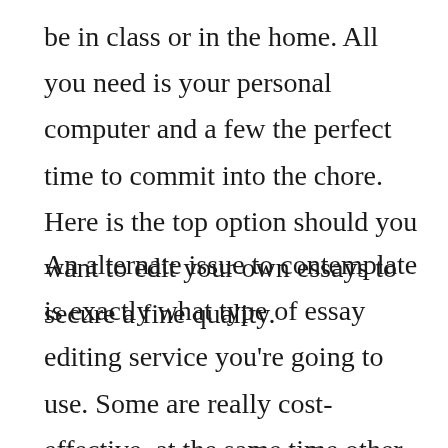be in class or in the home. All you need is your personal computer and a few the perfect time to commit into the chore. Here is the top option should you want to edit your own essays to secure a fine quality.
An alternate issue to contemplate is exactly what type of essay editing service you're going to use. Some are really cost-effective, at the same time other individuals may well cost a great deal. Some of the most cost-effective are often supplied by free services